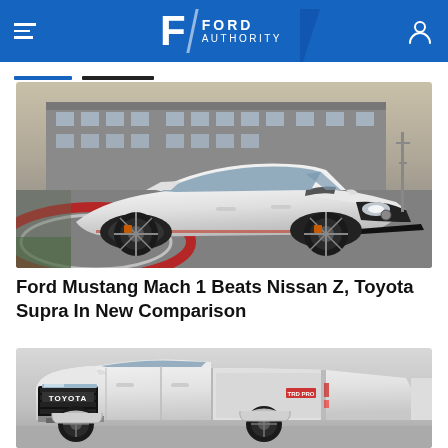Ford Authority
[Figure (photo): White Ford Mustang Mach 1 sports car on a race track, front three-quarter view, dark wheels with orange accents, industrial building in background]
Ford Mustang Mach 1 Beats Nissan Z, Toyota Supra In New Comparison
[Figure (photo): White Toyota Tundra TRD Pro pickup truck, front three-quarter view showing grille with TOYOTA lettering, aggressive off-road styling]